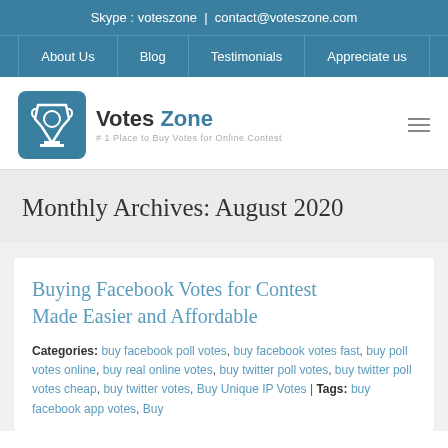Skype : voteszone | contact@voteszone.com
About Us | Blog | Testimonials | Appreciate us
[Figure (logo): Votes Zone logo — trophy icon in blue square with text 'Votes Zone' and tagline '# 1 Place to Buy Votes for Online Contest']
Monthly Archives: August 2020
Buying Facebook Votes for Contest Made Easier and Affordable
Categories: buy facebook poll votes, buy facebook votes fast, buy poll votes online, buy real online votes, buy twitter poll votes, buy twitter poll votes cheap, buy twitter votes, Buy Unique IP Votes | Tags: buy facebook app votes, Buy